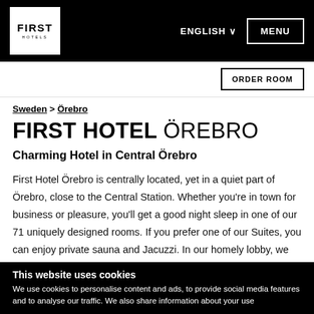[Figure (logo): First Hotels logo in white box on black navigation bar, with ENGLISH dropdown and MENU button]
ENGLISH ∨  MENU
ORDER ROOM
Sweden > Örebro
FIRST HOTEL ÖREBRO
Charming Hotel in Central Örebro
First Hotel Örebro is centrally located, yet in a quiet part of Örebro, close to the Central Station. Whether you're in town for business or pleasure, you'll get a good night sleep in one of our 71 uniquely designed rooms. If you prefer one of our Suites, you can enjoy private sauna and Jacuzzi. In our homely lobby, we offer beverages and simpler dishes.
This website uses cookies
We use cookies to personalise content and ads, to provide social media features and to analyse our traffic. We also share information about your use